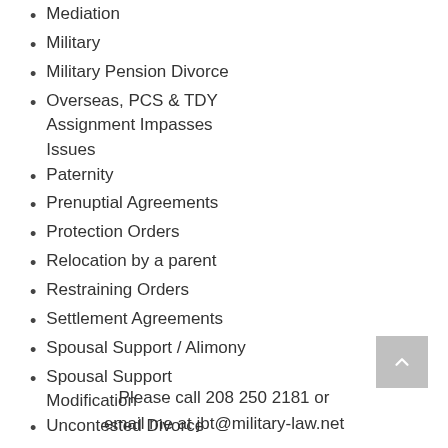Mediation
Military
Military Pension Divorce
Overseas, PCS & TDY Assignment Impasses Issues
Paternity
Prenuptial Agreements
Protection Orders
Relocation by a parent
Restraining Orders
Settlement Agreements
Spousal Support / Alimony
Spousal Support Modification
Uncontested Divorce
Please call 208 250 2181 or email me at jbt@military-law.net